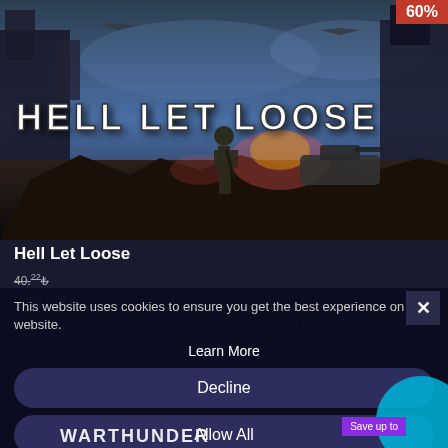[Figure (screenshot): Hell Let Loose game promotional image showing WWII battlefield scene with soldier standing among ruins, tanks, fire, and aircraft. Large white bold text reads HELL LET LOOSE. Red discount badge showing 60% in top right corner.]
Hell Let Loose
40.22ş (strikethrough original price)
16.19ş (sale price in cyan)
ADD TO CART
This website uses cookies to ensure you get the best experience on our website.
Learn More
Decline
Allow All
Save up to
[Figure (screenshot): Bottom portion of next game card showing War Thunder logo text and partially visible game art with character.]